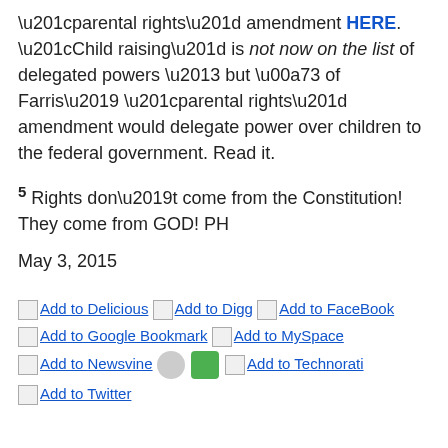“parental rights” amendment HERE. “Child raising” is not now on the list of delegated powers – but §3 of Farris’ “parental rights” amendment would delegate power over children to the federal government. Read it.
5 Rights don’t come from the Constitution! They come from GOD! PH
May 3, 2015
[Figure (other): Social sharing buttons: Add to Delicious, Add to Digg, Add to FaceBook, Add to Google Bookmark, Add to MySpace, Add to Newsvine, Reddit icon, StumbleUpon icon, Add to Technorati, Add to Twitter]